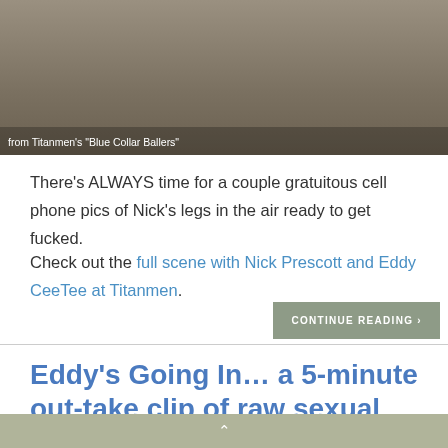[Figure (photo): Partial image of a person, with an overlay caption reading: from Titanmen's "Blue Collar Ballers"]
from Titanmen's "Blue Collar Ballers"
There's ALWAYS time for a couple gratuitous cell phone pics of Nick's legs in the air ready to get fucked.
Check out the full scene with Nick Prescott and Eddy CeeTee at Titanmen.
CONTINUE READING ›
Eddy's Going In… a 5-minute out-take clip of raw sexual